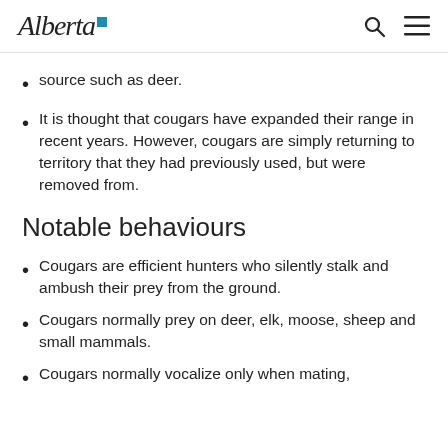Alberta [logo]
source such as deer.
It is thought that cougars have expanded their range in recent years. However, cougars are simply returning to territory that they had previously used, but were removed from.
Notable behaviours
Cougars are efficient hunters who silently stalk and ambush their prey from the ground.
Cougars normally prey on deer, elk, moose, sheep and small mammals.
Cougars normally vocalize only when mating,